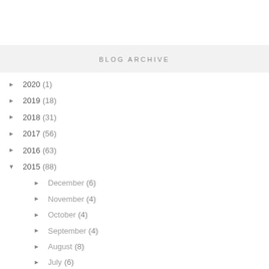BLOG ARCHIVE
► 2020 (1)
► 2019 (18)
► 2018 (31)
► 2017 (56)
► 2016 (63)
▼ 2015 (88)
► December (6)
► November (4)
► October (4)
► September (4)
► August (8)
► July (6)
► June (7)